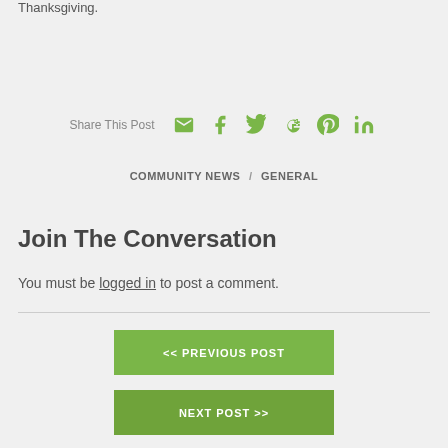Thanksgiving.
Share This Post [email] [facebook] [twitter] [google+] [pinterest] [linkedin]
COMMUNITY NEWS / GENERAL
Join The Conversation
You must be logged in to post a comment.
<< PREVIOUS POST
NEXT POST >>